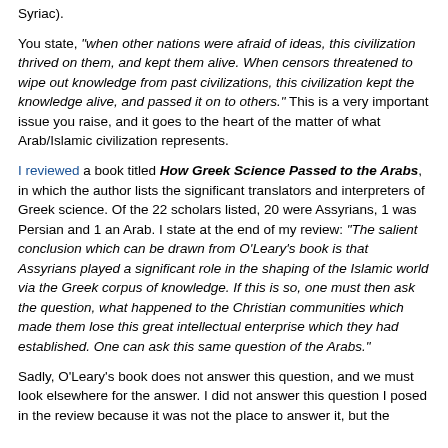Syriac).
You state, "when other nations were afraid of ideas, this civilization thrived on them, and kept them alive. When censors threatened to wipe out knowledge from past civilizations, this civilization kept the knowledge alive, and passed it on to others." This is a very important issue you raise, and it goes to the heart of the matter of what Arab/Islamic civilization represents.
I reviewed a book titled How Greek Science Passed to the Arabs, in which the author lists the significant translators and interpreters of Greek science. Of the 22 scholars listed, 20 were Assyrians, 1 was Persian and 1 an Arab. I state at the end of my review: "The salient conclusion which can be drawn from O'Leary's book is that Assyrians played a significant role in the shaping of the Islamic world via the Greek corpus of knowledge. If this is so, one must then ask the question, what happened to the Christian communities which made them lose this great intellectual enterprise which they had established. One can ask this same question of the Arabs."
Sadly, O'Leary's book does not answer this question, and we must look elsewhere for the answer. I did not answer this question I posed in the review because it was not the place to answer it, but the